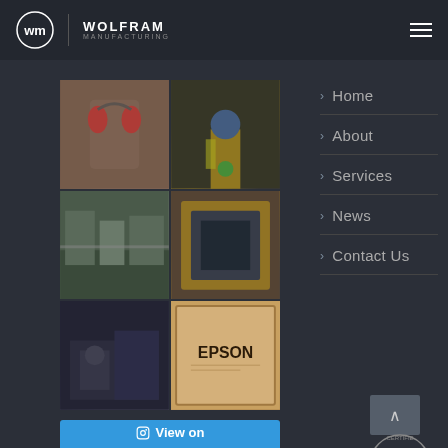[Figure (logo): Wolfram Manufacturing logo: circular WM monogram with vertical divider and WOLFRAM MANUFACTURING text]
[Figure (photo): 3x2 grid of manufacturing facility photos including equipment, robotic arm, factory floor, injection molding machine, machinery, and an EPSON cardboard box]
> Home
> About
> Services
> News
> Contact Us
View on Instagram